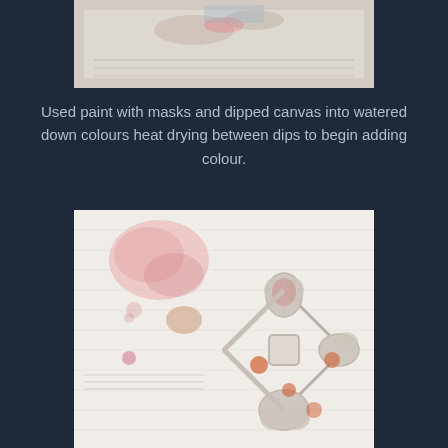[Figure (photo): Close-up of a canvas with paint and coloured markings, showing early stages of a mixed-media artwork with text/stamp impressions visible]
Used paint with masks and dipped canvas into watered down colours heat drying between dips to begin adding colour.
[Figure (photo): Canvas artwork showing a decorative ornamental design with raised texture, stencilled fleur-de-lis or similar motif with orange/red and pink paint marks on white canvas background]